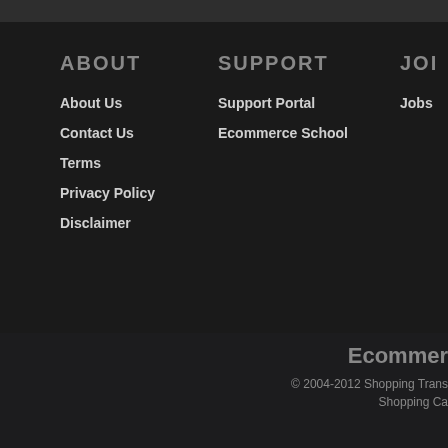ABOUT
About Us
Contact Us
Terms
Privacy Policy
Disclaimer
SUPPORT
Support Portal
Ecommerce School
JOI
Jobs
Ecommer
© 2004-2012 Shopping Trans
Shopping Ca